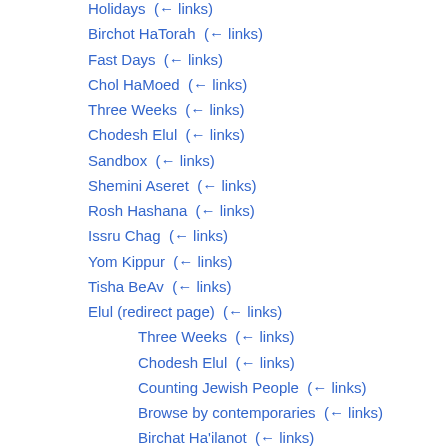Holidays  (← links)
Birchot HaTorah  (← links)
Fast Days  (← links)
Chol HaMoed  (← links)
Three Weeks  (← links)
Chodesh Elul  (← links)
Sandbox  (← links)
Shemini Aseret  (← links)
Rosh Hashana  (← links)
Issru Chag  (← links)
Yom Kippur  (← links)
Tisha BeAv  (← links)
Elul (redirect page)  (← links)
Three Weeks  (← links)
Chodesh Elul  (← links)
Counting Jewish People  (← links)
Browse by contemporaries  (← links)
Birchat Ha'ilanot  (← links)
Mezuzah  (← links)